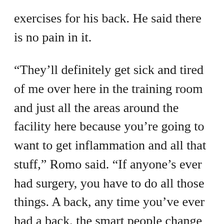exercises for his back. He said there is no pain in it.
“They’ll definitely get sick and tired of me over here in the training room and just all the areas around the facility here because you’re going to want to get inflammation and all that stuff,” Romo said. “If anyone’s ever had surgery, you have to do all those things. A back, any time you’ve ever had a back, the smart people change the routine going forward. They make sure that they commit to a routine that’s going to give them the best chance to be strong in all the other areas you need to be